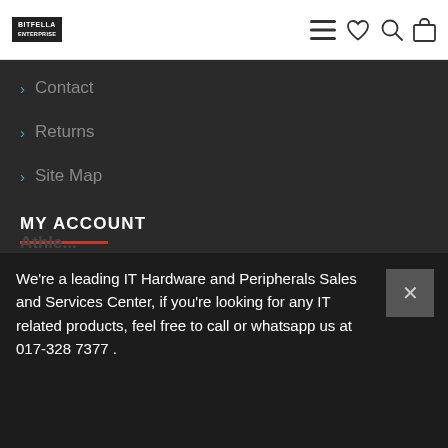BITFELLA [logo] — menu, heart, search, bag icons
> Contact
> Returns
> Site Map
MY ACCOUNT
> My Account
> Order History
We're a leading IT Hardware and Peripherals Sales and Services Center, if you're looking for any IT related products, feel free to call or whatsapp us at 017-328 7377 .